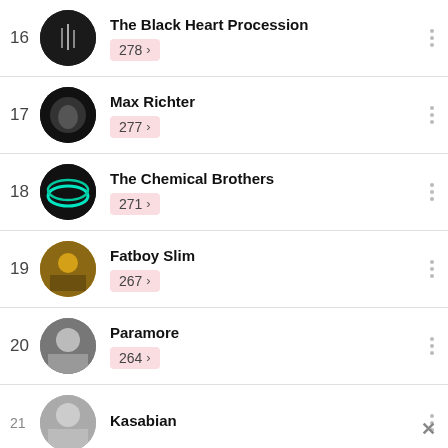16 The Black Heart Procession 278
17 Max Richter 277
18 The Chemical Brothers 271
19 Fatboy Slim 267
20 Paramore 264
21 Kasabian